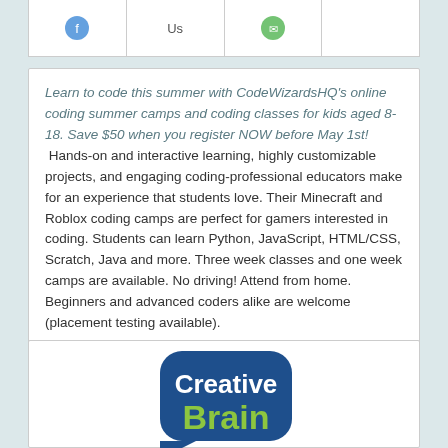[Figure (other): Top navigation card with icons for sharing, a social/contact 'Us' column, and a phone/contact icon column]
Learn to code this summer with CodeWizardsHQ's online coding summer camps and coding classes for kids aged 8-18. Save $50 when you register NOW before May 1st! Hands-on and interactive learning, highly customizable projects, and engaging coding-professional educators make for an experience that students love. Their Minecraft and Roblox coding camps are perfect for gamers interested in coding. Students can learn Python, JavaScript, HTML/CSS, Scratch, Java and more. Three week classes and one week camps are available. No driving! Attend from home. Beginners and advanced coders alike are welcome (placement testing available).
[Figure (logo): Creative Brain logo — dark blue rounded rectangle with white 'Creative' and green 'Brain' text, with a tail at bottom left]